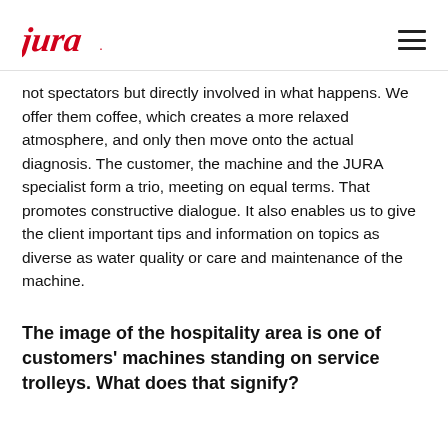jura
not spectators but directly involved in what happens. We offer them coffee, which creates a more relaxed atmosphere, and only then move onto the actual diagnosis. The customer, the machine and the JURA specialist form a trio, meeting on equal terms. That promotes constructive dialogue. It also enables us to give the client important tips and information on topics as diverse as water quality or care and maintenance of the machine.
The image of the hospitality area is one of customers' machines standing on service trolleys. What does that signify?